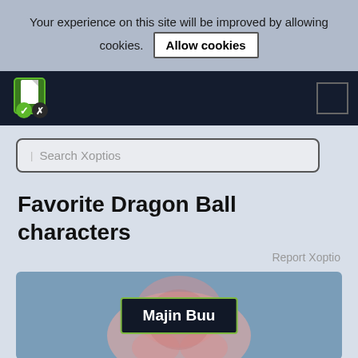Your experience on this site will be improved by allowing cookies.
Allow cookies
[Figure (logo): Xoptios logo: green and white shield/box icon with checkmark and X]
Search Xoptios
Favorite Dragon Ball characters
Report Xoptio
[Figure (screenshot): Majin Buu character image with dark overlay label reading 'Majin Buu']